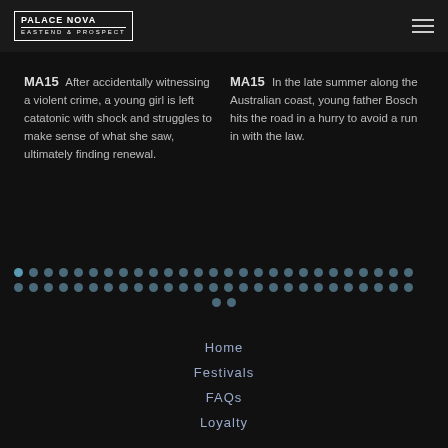PALACE NOVA EASTEND & PROSPECT
MA15 After accidentally witnessing a violent crime, a young girl is left catatonic with shock and struggles to make sense of what she saw, ultimately finding renewal.
MA15 In the late summer along the Australian coast, young father Bosch hits the road in a hurry to avoid a run in with the law.
[Figure (other): Pagination dots: two rows of small circles, first row has one highlighted dot, followed by many grey dots. Second row is all grey dots. Third row has two dots centered.]
Home
Festivals
FAQs
Loyalty